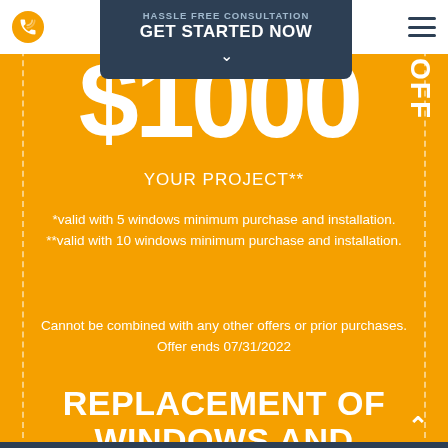HASSLE FREE CONSULTATION — GET STARTED NOW
$1000 OFF
YOUR PROJECT**
*valid with 5 windows minimum purchase and installation.
**valid with 10 windows minimum purchase and installation.
Cannot be combined with any other offers or prior purchases.
Offer ends 07/31/2022
REPLACEMENT OF WINDOWS AND DOORS